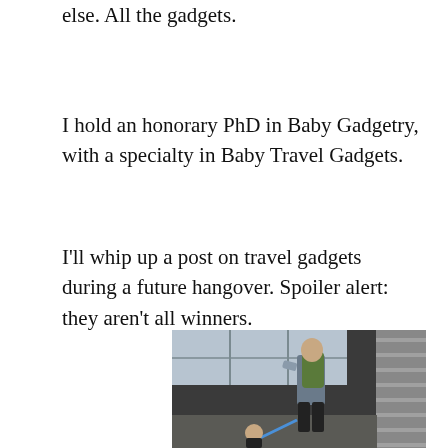else. All the gadgets.
I hold an honorary PhD in Baby Gadgetry, with a specialty in Baby Travel Gadgets.
I’ll whip up a post on travel gadgets during a future hangover. Spoiler alert: they aren’t all winners.
[Figure (photo): A man with a large green backpack stands near airport turnstile/gate while holding a leash attached to a small toddler in a printed onesie.]